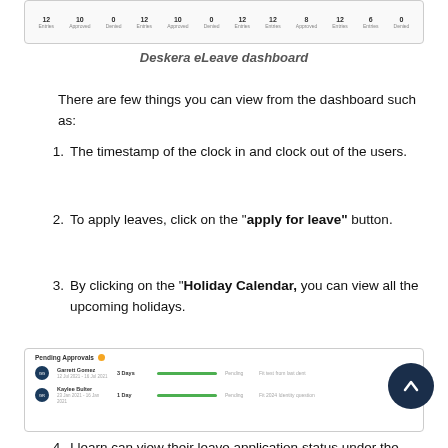[Figure (screenshot): Deskera eLeave dashboard top bar showing columns with numbers like 12, 10, 0, 12, 10, 0, 12, 12, 8, 12, 6, 0]
Deskera eLeave dashboard
There are few things you can view from the dashboard such as:
The timestamp of the clock in and clock out of the users.
To apply leaves, click on the "apply for leave" button.
By clicking on the "Holiday Calendar, you can view all the upcoming holidays.
[Figure (screenshot): Pending Approvals section showing two rows: Garrett Gomez with 3 Days and green bar, and Kaylee Bulter with 1 day and green bar, with leave status details]
I learn can view their leave application status under the